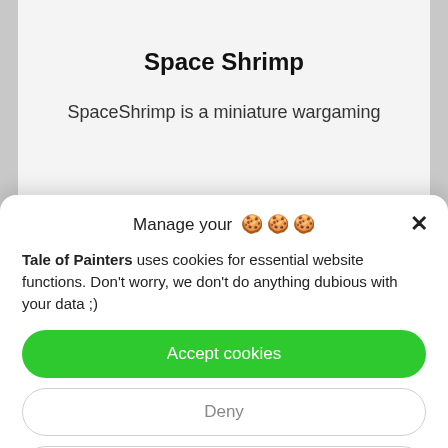Space Shrimp
SpaceShrimp is a miniature wargaming
Manage your 🍪🍪🍪
Tale of Painters uses cookies for essential website functions. Don't worry, we don't do anything dubious with your data ;)
Accept cookies
Deny
View preferences